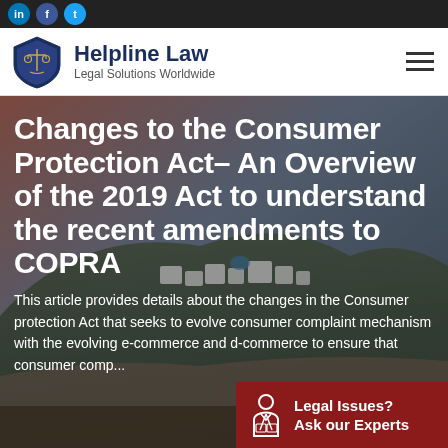Helpline Law — Legal Solutions Worldwide
[Figure (photo): Aerial view of Santorini, Greece at dusk — white buildings on hillside with warm sunset sky]
Changes to the Consumer Protection Act– An Overview of the 2019 Act to understand the recent amendments to COPRA
This article provides details about the changes in the Consumer protection Act that seeks to evolve consumer complaint mechanism with the evolving e-commerce and d-commerce to ensure that consumer comp...